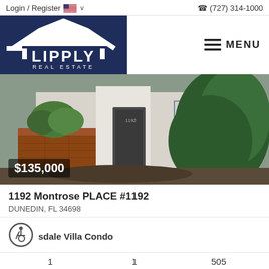Login / Register   🇺🇸 ∨    ☎ (727) 314-1000
[Figure (logo): Lipply Real Estate logo — white house/roof icon above text LIPPLY REAL ESTATE on dark navy background]
MENU
[Figure (photo): Front exterior of a white stucco residential home with a dark front door, number 1192, brick planter with plants on the left, large dense green hedge on the right, showing $135,000 price badge overlay at bottom left]
1192 Montrose PLACE #1192
DUNEDIN, FL 34698
sdale Villa Condo
1        1        505